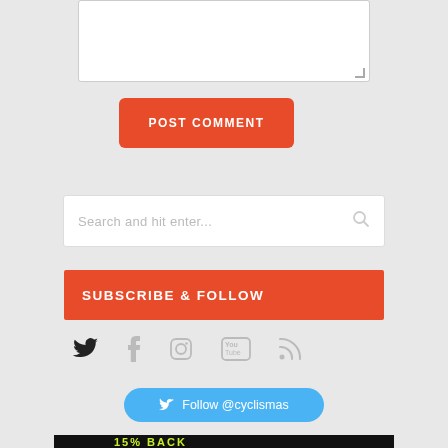[Figure (screenshot): Textarea input box with resize handle in bottom-right corner]
POST COMMENT
Search and hit enter...
SUBSCRIBE & FOLLOW
[Figure (illustration): Social media icons row: Twitter, Facebook, Instagram, YouTube, RSS]
Follow @cyclismas
[Figure (photo): Dark banner with cyclist and text '15% BACK']